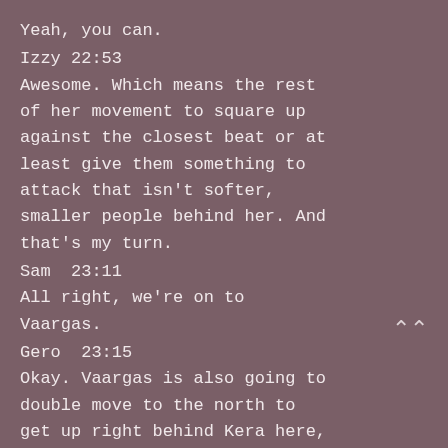Yeah, you can.
Izzy 22:53
Awesome. Which means the rest of her movement to square up against the closest beat or at least give them something to attack that isn't softer, smaller people behind her. And that's my turn.
Sam  23:11
All right, we're on to Vaargas.
Gero  23:15
Okay. Vaargas is also going to double move to the north to get up right behind Kera here,